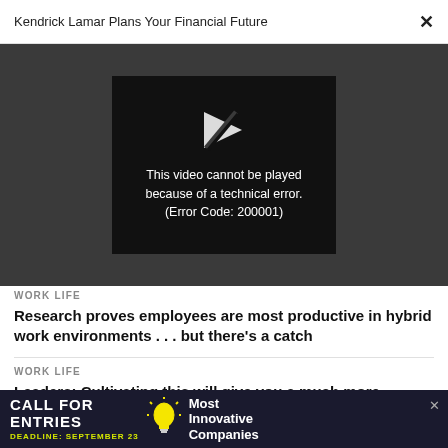Kendrick Lamar Plans Your Financial Future ×
[Figure (screenshot): Video player error screen showing a broken play icon and the message: This video cannot be played because of a technical error. (Error Code: 200001)]
WORK LIFE
Research proves employees are most productive in hybrid work environments . . . but there's a catch
WORK LIFE
Leaders: Cultivating this will give you a much more
[Figure (infographic): Advertisement banner: CALL FOR ENTRIES, DEADLINE: SEPTEMBER 23, lightbulb icon, Most Innovative Companies]